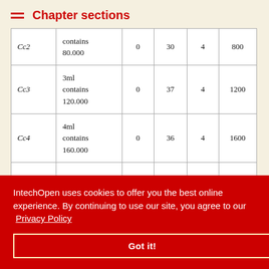Chapter sections
|  |  |  |  |  |  |
| --- | --- | --- | --- | --- | --- |
| Cc2 | contains
80.000 | 0 | 30 | 4 | 800 |
| Cc3 | 3ml
contains
120.000 | 0 | 37 | 4 | 1200 |
| Cc4 | 4ml
contains
160.000 | 0 | 36 | 4 | 1600 |
|  | 5ml
contains
200.000 | 0 |  | 4 | 2000 |
|  | 
contains
240.000 | 0 |  | 4 | 2400 |
IntechOpen uses cookies to offer you the best online experience. By continuing to use our site, you agree to our Privacy Policy